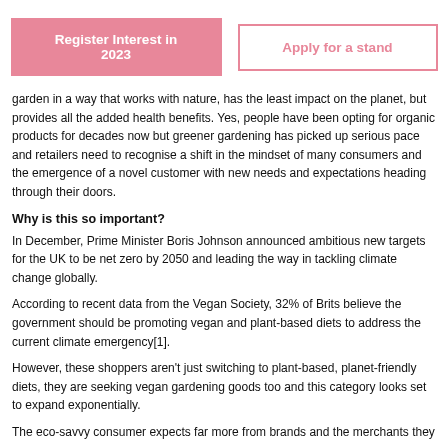[Figure (other): Two buttons: a pink filled button 'Register Interest in 2023' and a pink outlined button 'Apply for a stand']
garden in a way that works with nature, has the least impact on the planet, but provides all the added health benefits. Yes, people have been opting for organic products for decades now but greener gardening has picked up serious pace and retailers need to recognise a shift in the mindset of many consumers and the emergence of a novel customer with new needs and expectations heading through their doors.
Why is this so important?
In December, Prime Minister Boris Johnson announced ambitious new targets for the UK to be net zero by 2050 and leading the way in tackling climate change globally.
According to recent data from the Vegan Society, 32% of Brits believe the government should be promoting vegan and plant-based diets to address the current climate emergency[1].
However, these shoppers aren't just switching to plant-based, planet-friendly diets, they are seeking vegan gardening goods too and this category looks set to expand exponentially.
The eco-savvy consumer expects far more from brands and the merchants they